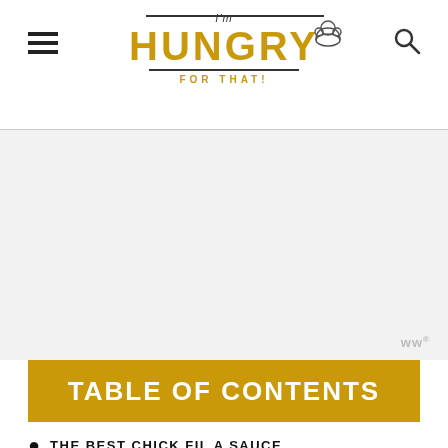I'm HUNGRY FOR THAT
[Figure (logo): I'm Hungry For That logo with golden text and chef hat illustration, hamburger menu icon on left, search icon on right]
[Figure (other): Advertisement placeholder area (light gray background)]
TABLE OF CONTENTS
THE BEST CHICK FIL A SAUCE